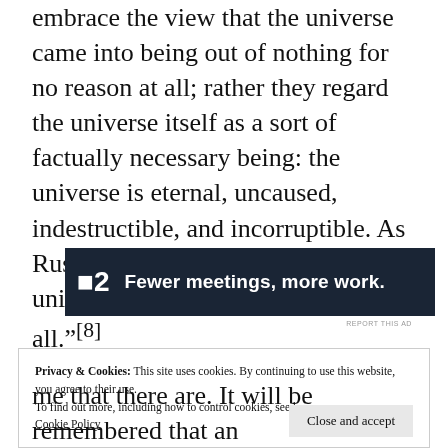embrace the view that the universe came into being out of nothing for no reason at all; rather they regard the universe itself as a sort of factually necessary being: the universe is eternal, uncaused, indestructible, and incorruptible. As Russell neatly put it, " . . . The universe is just there, and that's all."[8]
[Figure (other): Advertisement banner with dark navy background showing the text '.2  Fewer meetings, more work.' in bold white text]
REPORT THIS AD
Privacy & Cookies: This site uses cookies. By continuing to use this website, you agree to their use.
To find out more, including how to control cookies, see here:
Cookie Policy
Close and accept
me that there are. It will be remembered that an